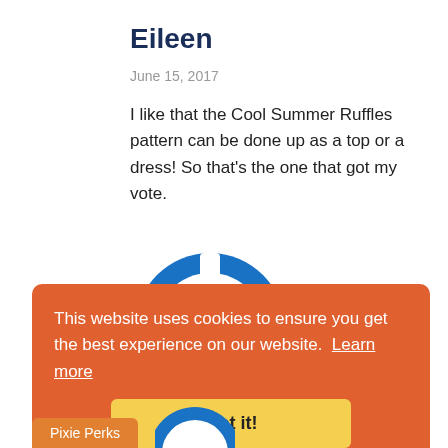Eileen
June 15, 2017
I like that the Cool Summer Ruffles pattern can be done up as a top or a dress! So that's the one that got my vote.
[Figure (logo): Blue circular power button logo icon]
This website uses cookies to ensure you get the best experience on our website. Learn more
Got it!
Pixie Perks